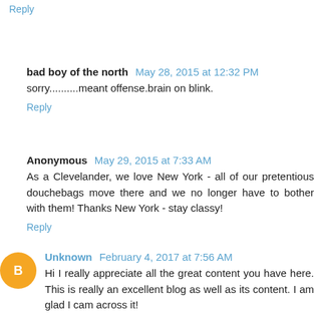Reply
bad boy of the north  May 28, 2015 at 12:32 PM
sorry..........meant offense.brain on blink.
Reply
Anonymous  May 29, 2015 at 7:33 AM
As a Clevelander, we love New York - all of our pretentious douchebags move there and we no longer have to bother with them! Thanks New York - stay classy!
Reply
Unknown  February 4, 2017 at 7:56 AM
Hi I really appreciate all the great content you have here. This is really an excellent blog as well as its content. I am glad I cam across it!